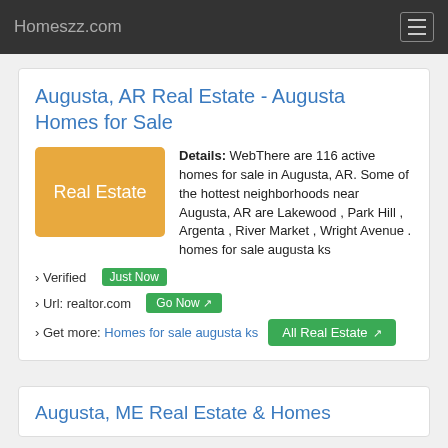Homeszz.com
Augusta, AR Real Estate - Augusta Homes for Sale
[Figure (illustration): Orange rectangle button labeled 'Real Estate']
Details: WebThere are 116 active homes for sale in Augusta, AR. Some of the hottest neighborhoods near Augusta, AR are Lakewood , Park Hill , Argenta , River Market , Wright Avenue . homes for sale augusta ks
› Verified  Just Now
› Url: realtor.com  Go Now
› Get more: Homes for sale augusta ks   All Real Estate
Augusta, ME Real Estate & Homes